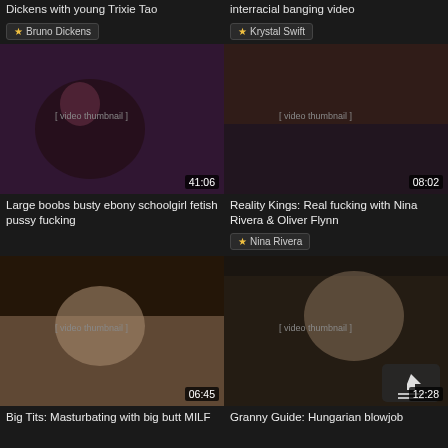Dickens with young Trixie Tao
interracial banging video
★ Bruno Dickens
★ Krystal Swift
[Figure (photo): Video thumbnail 41:06]
[Figure (photo): Video thumbnail 08:02]
Large boobs busty ebony schoolgirl fetish pussy fucking
Reality Kings: Real fucking with Nina Rivera & Oliver Flynn
★ Nina Rivera
[Figure (photo): Video thumbnail 06:45]
[Figure (photo): Video thumbnail 12:28]
Big Tits: Masturbating with big butt MILF
Granny Guide: Hungarian blowjob